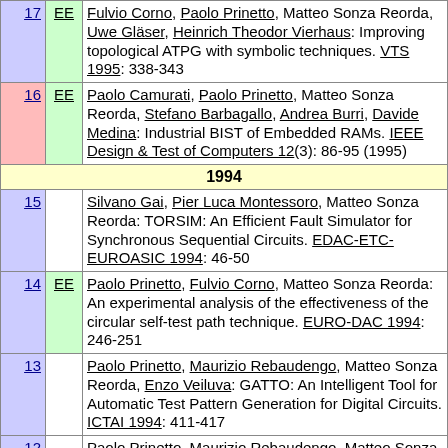| # | EE | Reference |
| --- | --- | --- |
| 17 | EE | Fulvio Corno, Paolo Prinetto, Matteo Sonza Reorda, Uwe Gläser, Heinrich Theodor Vierhaus: Improving topological ATPG with symbolic techniques. VTS 1995: 338-343 |
| 16 | EE | Paolo Camurati, Paolo Prinetto, Matteo Sonza Reorda, Stefano Barbagallo, Andrea Burri, Davide Medina: Industrial BIST of Embedded RAMs. IEEE Design & Test of Computers 12(3): 86-95 (1995) |
| 1994 |  |  |
| 15 |  | Silvano Gai, Pier Luca Montessoro, Matteo Sonza Reorda: TORSIM: An Efficient Fault Simulator for Synchronous Sequential Circuits. EDAC-ETC-EUROASIC 1994: 46-50 |
| 14 | EE | Paolo Prinetto, Fulvio Corno, Matteo Sonza Reorda: An experimental analysis of the effectiveness of the circular self-test path technique. EURO-DAC 1994: 246-251 |
| 13 |  | Paolo Prinetto, Maurizio Rebaudengo, Matteo Sonza Reorda, Enzo Veiluva: GATTO: An Intelligent Tool for Automatic Test Pattern Generation for Digital Circuits. ICTAI 1994: 411-417 |
| 12 |  | Paolo Prinetto, Maurizio Rebaudengo, Matteo Sonza Reorda: An Automatic Test Pattern Generator for Large Sequential Circuits Based on Genetic Algorithms. ITC |